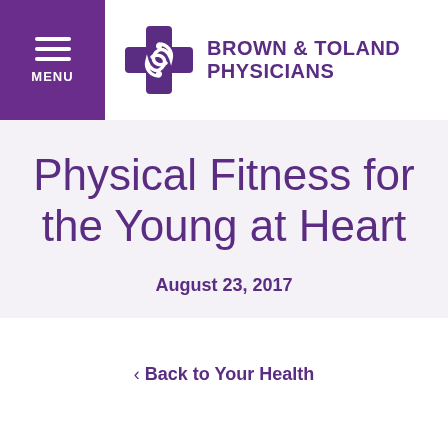[Figure (logo): Brown & Toland Physicians logo with purple cross and swirl icon, hamburger menu icon with MENU label on purple background]
Physical Fitness for the Young at Heart
August 23, 2017
< Back to Your Health